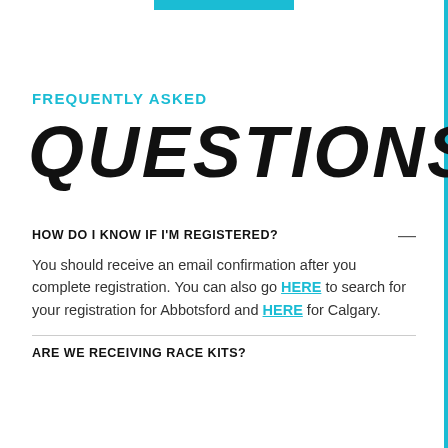[Figure (other): Teal/cyan horizontal bar at top center of page]
FREQUENTLY ASKED
QUESTIONS
HOW DO I KNOW IF I'M REGISTERED?
You should receive an email confirmation after you complete registration. You can also go HERE to search for your registration for Abbotsford and HERE for Calgary.
ARE WE RECEIVING RACE KITS?